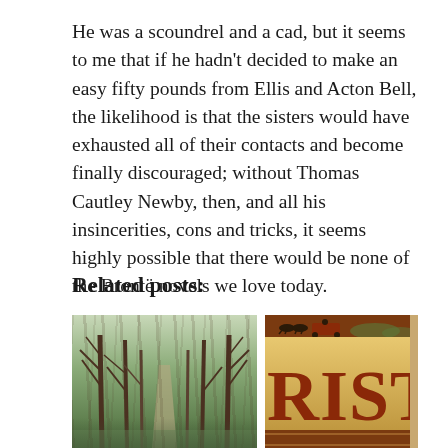He was a scoundrel and a cad, but it seems to me that if he hadn't decided to make an easy fifty pounds from Ellis and Acton Bell, the likelihood is that the sisters would have exhausted all of their contacts and become finally discouraged; without Thomas Cautley Newby, then, and all his insincerities, cons and tricks, it seems highly possible that there would be none of the Brontë novels we love today.
Related posts:
[Figure (photo): A woodland path with bare trees in early spring, green foliage visible on the ground]
[Figure (photo): A vintage Christmas illustration showing a horse-drawn carriage at top and large letters 'RISTN' (part of CHRISTMAS) in red on a golden/tan background]